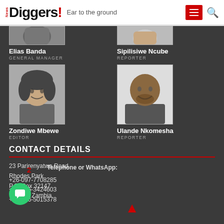News Diggers! Ear to the ground
[Figure (photo): Headshot photo of Elias Banda (partially cropped at top)]
Elias Banda
GENERAL MANAGER
[Figure (photo): Headshot photo of Sipilisiwe Ncube (partially cropped at top)]
Sipilisiwe Ncube
REPORTER
[Figure (photo): Headshot photo of Zondiwe Mbewe]
Zondiwe Mbewe
EDITOR
[Figure (photo): Headshot photo of Ulande Nkomesha]
Ulande Nkomesha
REPORTER
CONTACT DETAILS
23 Parirenyatwa Road
Rhodes Park
P.O. Box 32147
Lusaka, Zambia
Telephone or WhatsApp:
+26-097-7708285
+26-095-3424603
+26-096-5015378